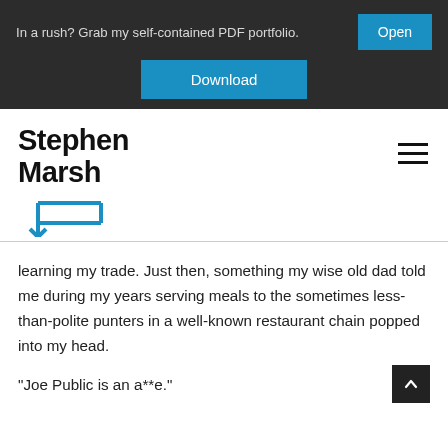In a rush? Grab my self-contained PDF portfolio.
Open
Download
Stephen Marsh
[Figure (illustration): Blue bracket/speech bubble graphic logo element]
learning my trade. Just then, something my wise old dad told me during my years serving meals to the sometimes less-than-polite punters in a well-known restaurant chain popped into my head.
"Joe Public is an a**e."